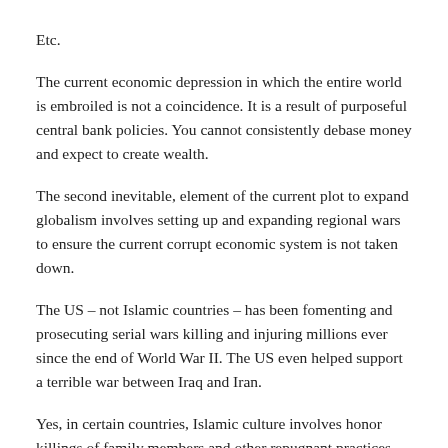Etc.
The current economic depression in which the entire world is embroiled is not a coincidence. It is a result of purposeful central bank policies. You cannot consistently debase money and expect to create wealth.
The second inevitable, element of the current plot to expand globalism involves setting up and expanding regional wars to ensure the current corrupt economic system is not taken down.
The US – not Islamic countries – has been fomenting and prosecuting serial wars killing and injuring millions ever since the end of World War II. The US even helped support a terrible war between Iraq and Iran.
Yes, in certain countries, Islamic culture involves honor killings of family members and other repugnant practices. But this part-and-parcel of non-Western societies.